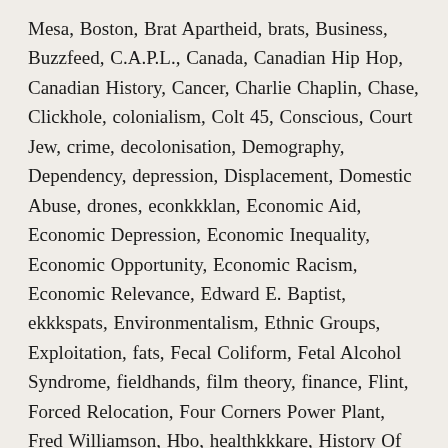Mesa, Boston, Brat Apartheid, brats, Business, Buzzfeed, C.A.P.L., Canada, Canadian Hip Hop, Canadian History, Cancer, Charlie Chaplin, Chase, Clickhole, colonialism, Colt 45, Conscious, Court Jew, crime, decolonisation, Demography, Dependency, depression, Displacement, Domestic Abuse, drones, econkkklan, Economic Aid, Economic Depression, Economic Inequality, Economic Opportunity, Economic Racism, Economic Relevance, Edward E. Baptist, ekkkspats, Environmentalism, Ethnic Groups, Exploitation, fats, Fecal Coliform, Fetal Alcohol Syndrome, fieldhands, film theory, finance, Flint, Forced Relocation, Four Corners Power Plant, Fred Williamson, Hbo, healthkkkare, History Of Banking, Hudson's Bay Company, Human Zoo, Hypernormalisation, Imperialism, independent, Indie Hip Hop, indie rap, indigenous rights, Infrastructure, jacobin, Jail, Job Skills, John Oliver, Johns Manville, JP Morgan, Kevlexicon,